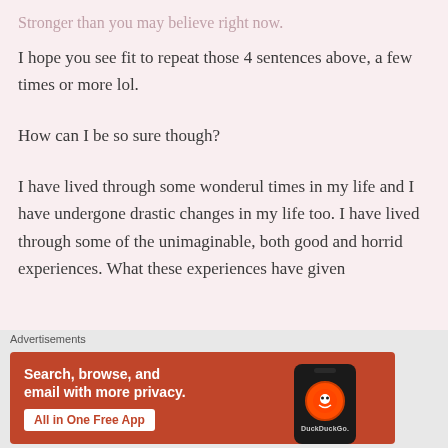Stronger than you may believe right now.
I hope you see fit to repeat those 4 sentences above, a few times or more lol.
How can I be so sure though?
I have lived through some wonderul times in my life and I have undergone drastic changes in my life too. I have lived through some of the unimaginable, both good and horrid experiences. What these experiences have given
[Figure (infographic): DuckDuckGo advertisement banner with orange/red background. Text reads 'Search, browse, and email with more privacy. All in One Free App' with a DuckDuckGo logo on a phone graphic.]